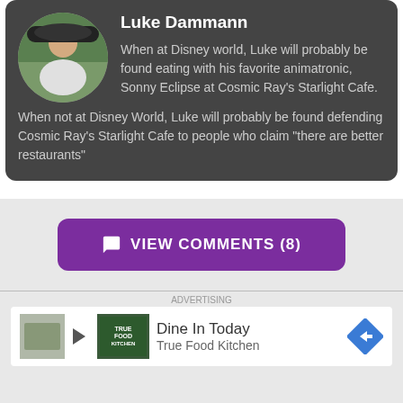[Figure (photo): Circular avatar photo of Luke Dammann, a young man in a white t-shirt outdoors]
Luke Dammann
When at Disney world, Luke will probably be found eating with his favorite animatronic, Sonny Eclipse at Cosmic Ray's Starlight Cafe. When not at Disney World, Luke will probably be found defending Cosmic Ray's Starlight Cafe to people who claim "there are better restaurants"
VIEW COMMENTS (8)
[Figure (other): Advertisement banner for True Food Kitchen — Dine In Today]